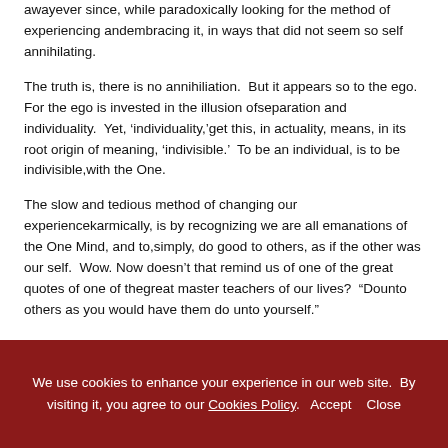awayever since, while paradoxically looking for the method of experiencing andembracing it, in ways that did not seem so self annihilating.
The truth is, there is no annihiliation. But it appears so to the ego. For the ego is invested in the illusion ofseparation and individuality. Yet, ‘individuality,’get this, in actuality, means, in its root origin of meaning, ‘indivisible.’ To be an individual, is to be indivisible,with the One.
The slow and tedious method of changing our experiencekarmically, is by recognizing we are all emanations of the One Mind, and to,simply, do good to others, as if the other was our self. Wow. Now doesn’t that remind us of one of the great quotes of one of thegreat master teachers of our lives? “Dounto others as you would have them do unto yourself.”
We use cookies to enhance your experience in our web site. By visiting it, you agree to our Cookies Policy. Accept Close